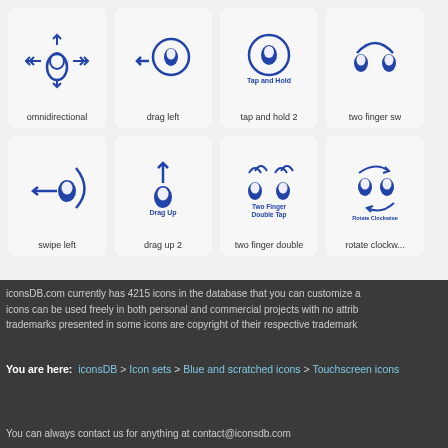[Figure (screenshot): Grid of touchscreen gesture icons: omnidirectional, drag left, tap and hold 2, two finger sw..., swipe left, drag up 2, two finger double, rotate clockw...]
iconsDB.com currently has 4215 icons in the database that you can customize a... icons can be used freely in both personal and commercial projects with no attrib... trademarks presented in some icons are copyright of their respective trademark...
You are here: iconsDB > Icon sets > Blue and scratched icons > Touchscreen icons
You can always contact us for anything at contact@iconsdb.com